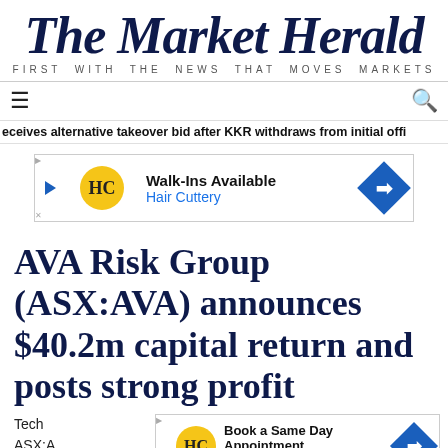The Market Herald — FIRST WITH THE NEWS THAT MOVES MARKETS
eceives alternative takeover bid after KKR withdraws from initial offi
[Figure (other): Advertisement banner for Hair Cuttery: Walk-Ins Available, Hair Cuttery]
AVA Risk Group (ASX:AVA) announces $40.2m capital return and posts strong profit
Tech
ASX:A
[Figure (other): Advertisement banner for Hair Cuttery: Book a Same Day Appointment, Hair Cuttery]